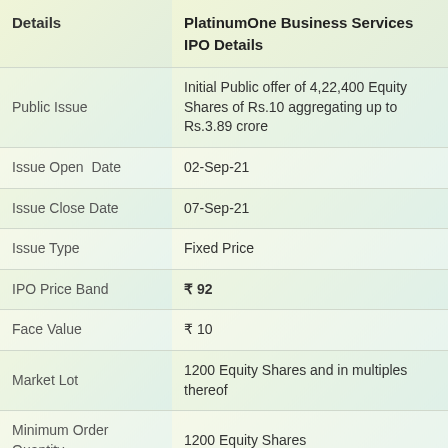| Details | PlatinumOne Business Services IPO Details |
| --- | --- |
| Public Issue | Initial Public offer of 4,22,400 Equity Shares of Rs.10 aggregating up to Rs.3.89 crore |
| Issue Open  Date | 02-Sep-21 |
| Issue Close Date | 07-Sep-21 |
| Issue Type | Fixed Price |
| IPO Price Band | ₹ 92 |
| Face Value | ₹ 10 |
| Market Lot | 1200 Equity Shares and in multiples thereof |
| Minimum Order Quantity | 1200 Equity Shares |
| Maximum Subscription |  |